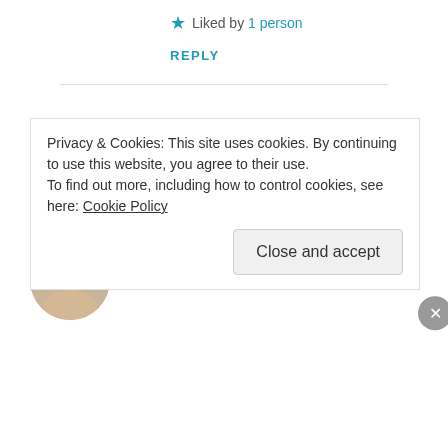★ Liked by 1 person
REPLY
Advertisements
behindeverygoodbusiness
JULY 13, 2017 AT 6:10 PM
Privacy & Cookies: This site uses cookies. By continuing to use this website, you agree to their use.
To find out more, including how to control cookies, see here: Cookie Policy
Close and accept